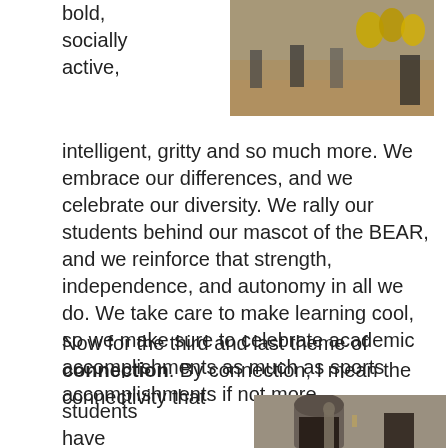[Figure (photo): Photo of people at an event with gold balloon decorations in the background]
bold, socially active, intelligent, gritty and so much more. We embrace our differences, and we celebrate our diversity. We rally our students behind our mascot of the BEAR, and we reinforce that strength, independence, and autonomy in all we do. We take care to make learning cool, so we make sure to celebrate academic accomplishments as much as sports accomplishments if not more.

Now for the third and last theme of connection. By connection, I mean the connectivity that students have between
[Figure (photo): Photo of a stone building with an archway and a statue outside]